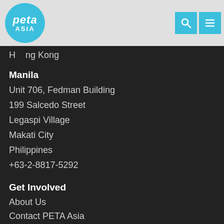PETA ASIA — navigation header with logo, search and menu icons
Hong Kong
Manila
Unit 706, Fedman Building
199 Salcedo Street
Legaspi Village
Makati City
Philippines
+63-2-8817-5292
Get Involved
About Us
Contact PETA Asia
Careers
Donate Now
Site Tools